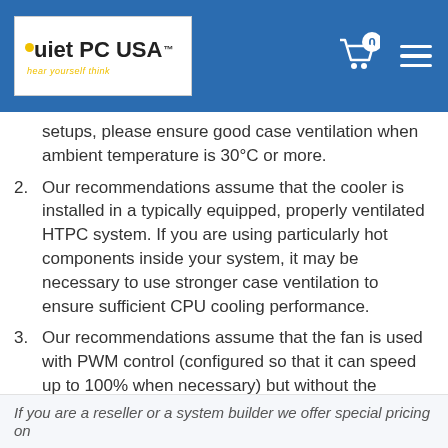Quiet PC USA — hear yourself think
setups, please ensure good case ventilation when ambient temperature is 30°C or more.
2. Our recommendations assume that the cooler is installed in a typically equipped, properly ventilated HTPC system. If you are using particularly hot components inside your system, it may be necessary to use stronger case ventilation to ensure sufficient CPU cooling performance.
3. Our recommendations assume that the fan is used with PWM control (configured so that it can speed up to 100% when necessary) but without the supplied Low-Noise Adaptor. If you would like to use the NH-L9 with the supplied Low-Noise Adaptors, we recommend choosing CPUs with less than 65W TDP.
If you are a reseller or a system builder we offer special pricing on